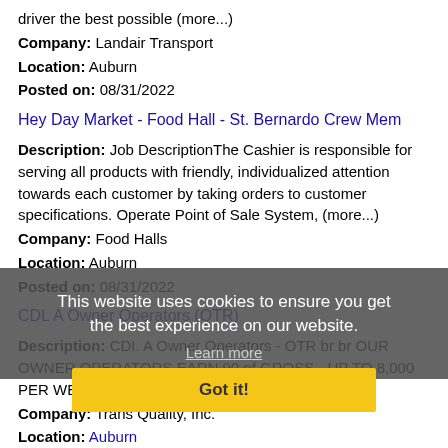driver the best possible (more...)
Company: Landair Transport
Location: Auburn
Posted on: 08/31/2022
Hey Day Market - Food Hall - St. Bernardo Crew Mem
Description: Job DescriptionThe Cashier is responsible for serving all products with friendly, individualized attention towards each customer by taking orders to customer specifications. Operate Point of Sale System, (more...)
Company: Food Halls
Location: Auburn
Posted on: 08/31/2022
CDL A Owner Operators (OTR)
Description: CDI. A Owner Operators - OTR br br OUR OWNER OPERATORS EARN 90 of GROSS - UP TO 8,000 PER WEEK br ul li 90
Company: Trans Quality, Inc.
Location: Auburn
Posted on: 08/31/2022
Mig Welder
Description: Position, align and fit together fabricated wire, plates